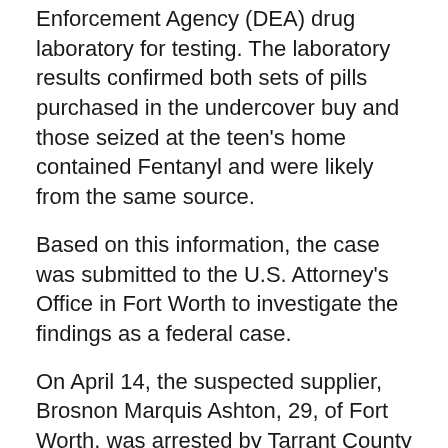Enforcement Agency (DEA) drug laboratory for testing. The laboratory results confirmed both sets of pills purchased in the undercover buy and those seized at the teen's home contained Fentanyl and were likely from the same source.
Based on this information, the case was submitted to the U.S. Attorney's Office in Fort Worth to investigate the findings as a federal case.
On April 14, the suspected supplier, Brosnon Marquis Ashton, 29, of Fort Worth, was arrested by Tarrant County Sheriff's deputies for a felon in possession of a firearm warrant with the assistance of Parker County Special Crimes Unit and sheriff's investigators.
On Thursday, April 29, DEA Task Force investigators recruited the assistance of Fort Worth Special Weapons and Tactics Unit to execute a search warrant of Ashton's vehicles and home on Heidelberg Drive in Fort Worth. Ashton left the residence at 12:15 p.m. and